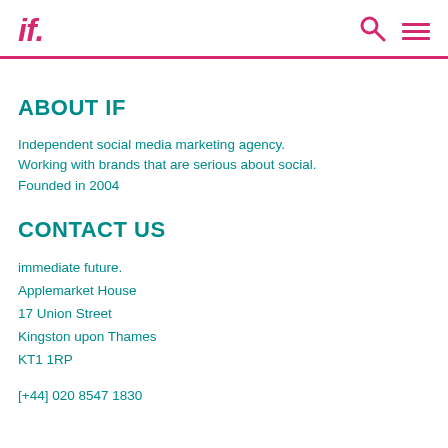if.
ABOUT IF
Independent social media marketing agency. Working with brands that are serious about social. Founded in 2004
CONTACT US
immediate future.
Applemarket House
17 Union Street
Kingston upon Thames
KT1 1RP
[+44] 020 8547 1830